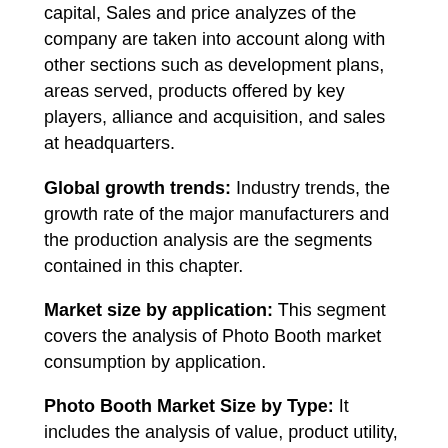capital, Sales and price analyzes of the company are taken into account along with other sections such as development plans, areas served, products offered by key players, alliance and acquisition, and sales at headquarters.
Global growth trends: Industry trends, the growth rate of the major manufacturers and the production analysis are the segments contained in this chapter.
Market size by application: This segment covers the analysis of Photo Booth market consumption by application.
Photo Booth Market Size by Type: It includes the analysis of value, product utility, market share and production market share by type.
Manufacturer profiles: Here, the key players in the global Photo Booth market are studied on the basis of sales area,